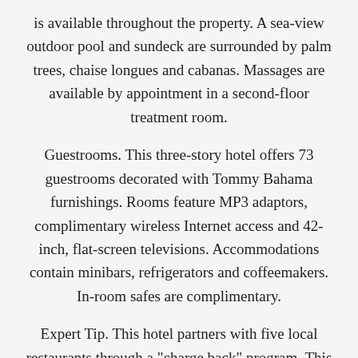is available throughout the property. A sea-view outdoor pool and sundeck are surrounded by palm trees, chaise longues and cabanas. Massages are available by appointment in a second-floor treatment room.
Guestrooms. This three-story hotel offers 73 guestrooms decorated with Tommy Bahama furnishings. Rooms feature MP3 adaptors, complimentary wireless Internet access and 42-inch, flat-screen televisions. Accommodations contain minibars, refrigerators and coffeemakers. In-room safes are complimentary.
Expert Tip. This hotel partners with five local restaurants through a "charge back" program. This program allows guests to sign with a room number and later pay the restaurant tab when the hotel bill is settled. Two restaurants also offer room service.